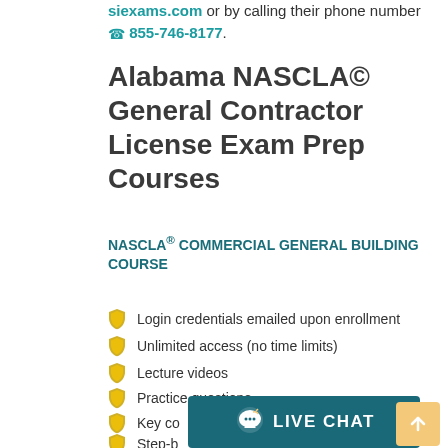siexams.com or by calling their phone number 855-746-8177.
Alabama NASCLA© General Contractor License Exam Prep Courses
NASCLA® COMMERCIAL GENERAL BUILDING COURSE
Login credentials emailed upon enrollment
Unlimited access (no time limits)
Lecture videos
Practice questions
Key co...
Step-b... oblems
[Figure (other): Live Chat button overlay at bottom of page]
[Figure (other): Scroll-to-top button (orange/yellow arrow up)]